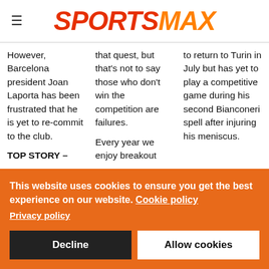SPORTSMAX
However, Barcelona president Joan Laporta has been frustrated that he is yet to re-commit to the club.
TOP STORY –
that quest, but that's not to say those who don't win the competition are failures. Every year we enjoy breakout
to return to Turin in July but has yet to play a competitive game during his second Bianconeri spell after injuring his meniscus.
This website uses cookies to ensure you get the best experience on our website. Cookie policy Privacy policy
Decline
Allow cookies